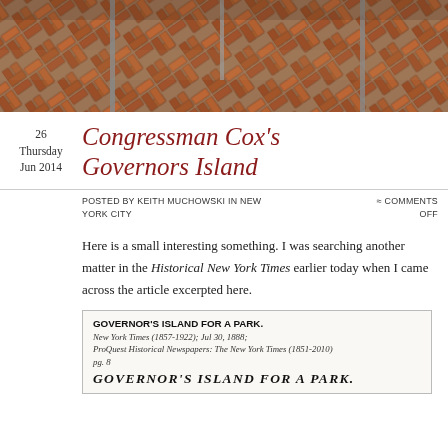[Figure (photo): Close-up photo of herringbone brick paving with metal poles/posts visible at the top]
Congressman Cox's Governors Island
26
Thursday
Jun 2014
Posted by Keith Muchowski in New York City
≈ Comments Off
Here is a small interesting something. I was searching another matter in the Historical New York Times earlier today when I came across the article excerpted here.
[Figure (screenshot): Newspaper clipping excerpt: GOVERNOR'S ISLAND FOR A PARK. New York Times (1857-1922); Jul 30, 1888; ProQuest Historical Newspapers: The New York Times (1851-2010) pg. 8. Large italic headline: GOVERNOR'S ISLAND FOR A PARK.]